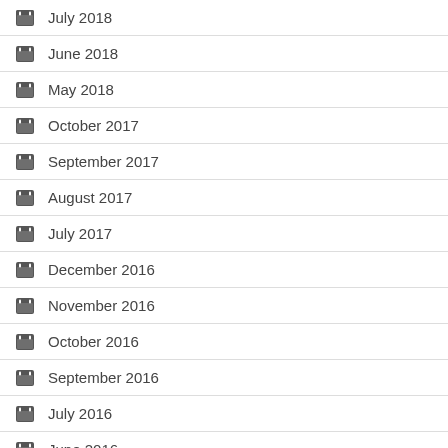July 2018
June 2018
May 2018
October 2017
September 2017
August 2017
July 2017
December 2016
November 2016
October 2016
September 2016
July 2016
June 2016